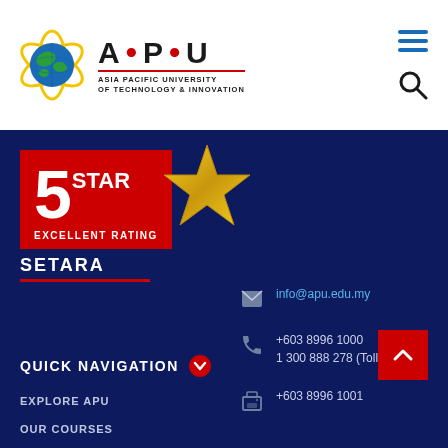[Figure (logo): APU Asia Pacific University of Technology & Innovation logo with globe graphic]
[Figure (infographic): 5 Star Excellent Rating SETARA badge with gold star]
info@apu.edu.my
+603 8996 1000
1 300 888 278 (Toll-free)
+603 8996 1001
QUICK NAVIGATION
EXPLORE APU
OUR COURSES
APPLY NOW